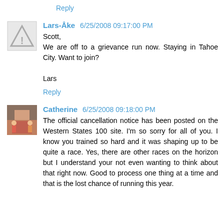Reply
Lars-Åke 6/25/2008 09:17:00 PM
Scott,
We are off to a grievance run now. Staying in Tahoe City. Want to join?

Lars
Reply
Catherine 6/25/2008 09:18:00 PM
The official cancellation notice has been posted on the Western States 100 site. I'm so sorry for all of you. I know you trained so hard and it was shaping up to be quite a race. Yes, there are other races on the horizon but I understand your not even wanting to think about that right now. Good to process one thing at a time and that is the lost chance of running this year.